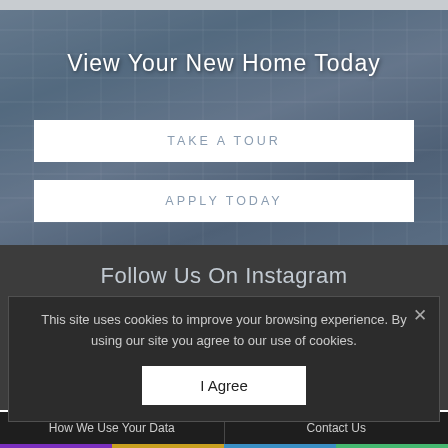View Your New Home Today
TAKE A TOUR
APPLY TODAY
Follow Us On Instagram
This site uses cookies to improve your browsing experience. By using our site you agree to our use of cookies.
I Agree
How We Use Your Data   Contact Us